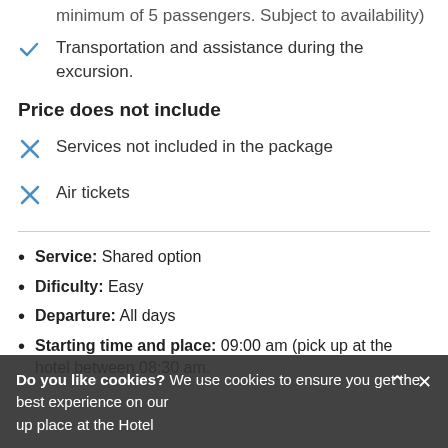minimum of 5 passengers. Subject to availability)
Transportation and assistance during the excursion.
Price does not include
Services not included in the package
Air tickets
Service: Shared option
Dificulty: Easy
Departure: All days
Starting time and place: 09:00 am (pick up at the hotel between 08:30 and pick up place at the Hotel)
Do you like cookies? We use cookies to ensure you get the best experience on our website.